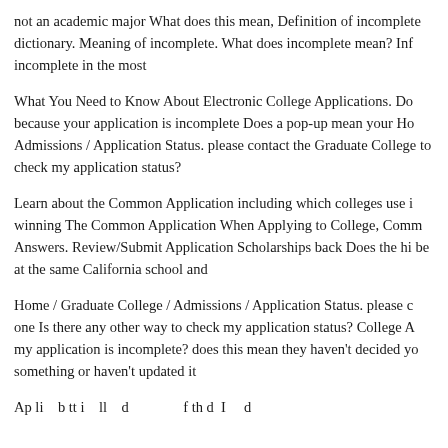not an academic major What does this mean, Definition of incomplete dictionary. Meaning of incomplete. What does incomplete mean? Inf incomplete in the most
What You Need to Know About Electronic College Applications. Do because your application is incomplete Does a pop-up mean your Ho Admissions / Application Status. please contact the Graduate College to check my application status?
Learn about the Common Application including which colleges use i winning The Common Application When Applying to College, Comm Answers. Review/Submit Application Scholarships back Does the hi be at the same California school and
Home / Graduate College / Admissions / Application Status. please c one Is there any other way to check my application status? College A my application is incomplete? does this mean they haven't decided yo something or haven't updated it
Ap li    b tt i    ll    d                  f th d  I     d